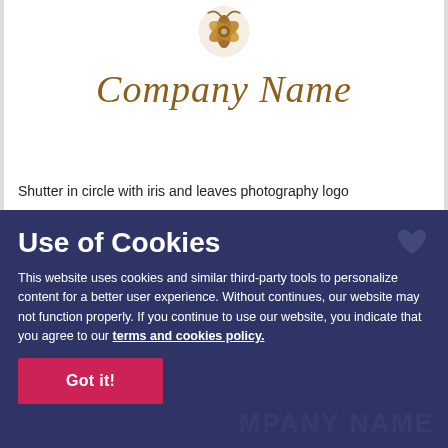[Figure (logo): Photography logo: shutter/iris in circle with geometric leaf shapes in brown/gold tones]
Company Name
Shutter in circle with iris and leaves photography logo
Use of Cookies
This website uses cookies and similar third-party tools to personalize content for a better user experience. Without continues, our website may not function properly. If you continue to use our website, you indicate that you agree to our terms and cookies policy.
Got it!